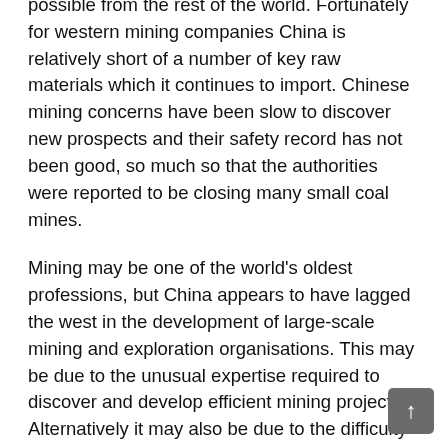possible from the rest of the world. Fortunately for western mining companies China is relatively short of a number of key raw materials which it continues to import. Chinese mining concerns have been slow to discover new prospects and their safety record has not been good, so much so that the authorities were reported to be closing many small coal mines.
Mining may be one of the world's oldest professions, but China appears to have lagged the west in the development of large-scale mining and exploration organisations. This may be due to the unusual expertise required to discover and develop efficient mining projects. Alternatively it may also be due to the difficulty in discovering prospects in a geology where there is a lack of rock outcrop and where overlying sand cover effectively masks underlying